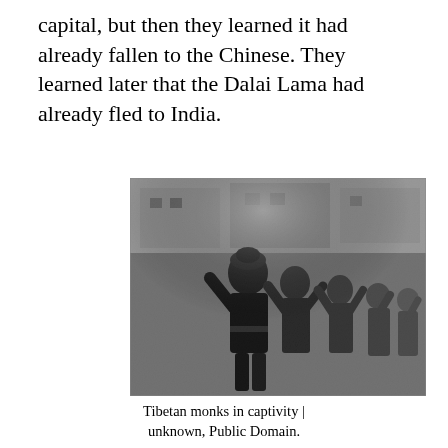capital, but then they learned it had already fallen to the Chinese. They learned later that the Dalai Lama had already fled to India.
[Figure (photo): Black and white historical photograph showing Tibetan monks in captivity, with hands raised, being led or marched, with buildings visible in the background.]
Tibetan monks in captivity | unknown, Public Domain.